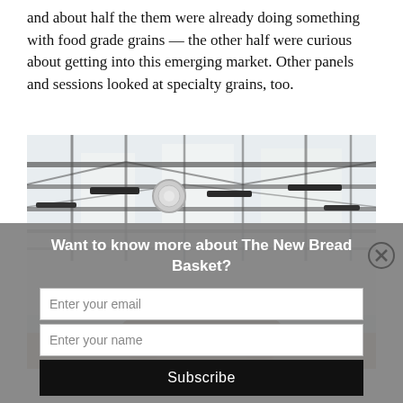and about half the them were already doing something with food grade grains — the other half were curious about getting into this emerging market. Other panels and sessions looked at specialty grains, too.
[Figure (photo): Photo showing an industrial ceiling with metal trusses and lighting equipment, and the top of a person's head with short gray-brown hair visible at the bottom of the frame.]
Want to know more about The New Bread Basket?
Enter your email
Enter your name
Subscribe